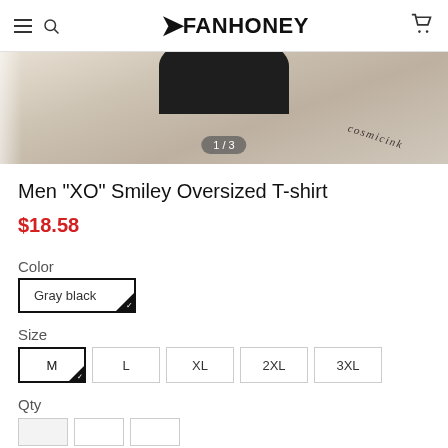FANHONEY
[Figure (photo): Product image showing bottom portion of oversized t-shirt worn by model with tattoo visible, image counter badge showing 1/3]
Men "XO" Smiley Oversized T-shirt
$18.58
Color
Gray black
Size
M  L  XL  2XL  3XL
Qty